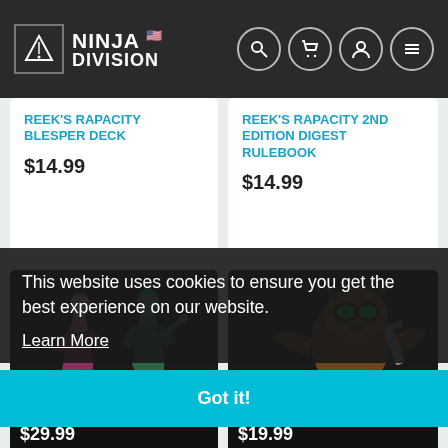[Figure (screenshot): Ninja Division website header with logo and navigation icons (search, cart, account, menu)]
REEK'S RAPACITY BLESPER DECK
$14.99
REEK'S RAPACITY 2ND EDITION DIGEST RULEBOOK
$14.99
[Figure (photo): Miniature figurines - Dan D. Starship character models on black bases]
DAN D. STARSHIP
$29.99
[Figure (photo): Miniature figurine - Rhouss Fixer character model on black base]
RHOUSS FIXER
$19.99
This website uses cookies to ensure you get the best experience on our website.
Learn More
Got it!